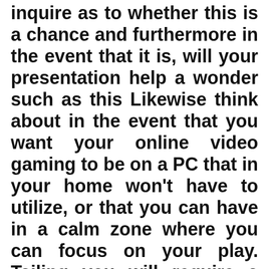inquire as to whether this is a chance and furthermore in the event that it is, will your presentation help a wonder such as this Likewise think about in the event that you want your online video gaming to be on a PC that in your home won't have to utilize, or that you can have in a calm zone where you can focus on your play. Tailing you will require a decent Internet association and furthermore Web program. Indeed, you conceivably have these as of now, yet you wish to make sure that you have an association that isn't probably going